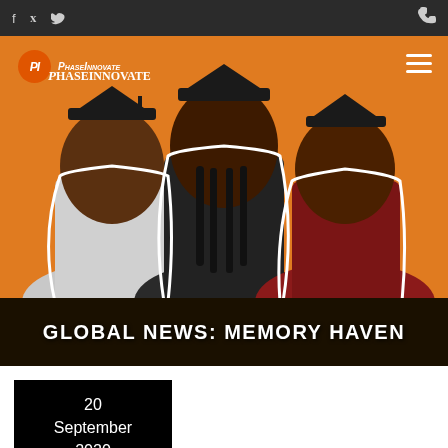f  twitter  [phone icon]
[Figure (photo): Hero image showing three young Black women in graduation caps against an orange background, with PhaseInnovate logo overlay and dark banner reading 'Global News: Memory Haven']
20 September 2020
Memory Haven appears in top Global